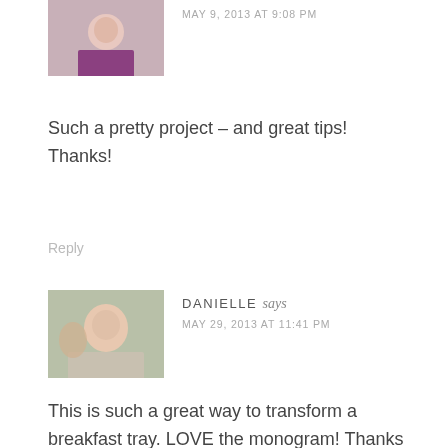[Figure (photo): Small avatar photo of a person in a purple top seated outdoors]
MAY 9, 2013 AT 9:08 PM
Such a pretty project – and great tips! Thanks!
Reply
[Figure (photo): Avatar photo of Danielle, a smiling woman being kissed on the cheek]
DANIELLE says
MAY 29, 2013 AT 11:41 PM
This is such a great way to transform a breakfast tray. LOVE the monogram! Thanks again for linking up today for Craft With What You've Got!